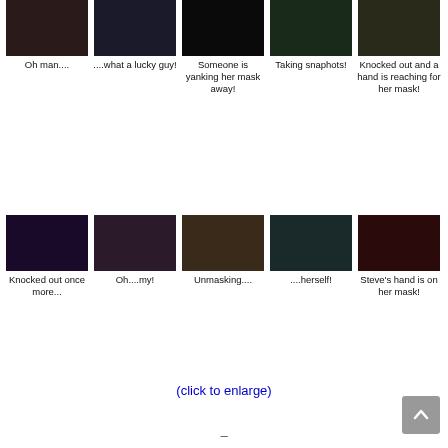[Figure (photo): Grid of 10 dark photos arranged in 2 rows of 5 with captions below each photo]
Oh man....
....what a lucky guy!
Someone is yanking her mask away!
Taking snaphots!
Knocked out and a hand is reaching for her mask!
Knocked out once more...
Oh....my!
Unmasking....
....herself!
Steve's hand is on her mask!
(click to enlarge)